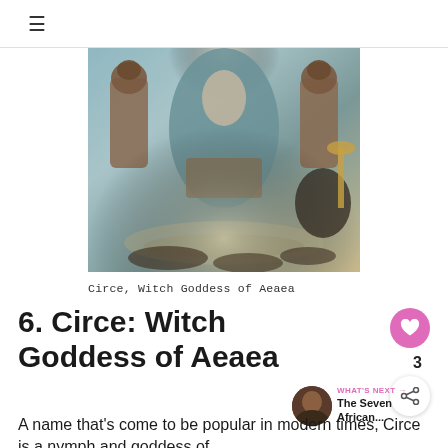≡
[Figure (photo): Painting of Circe, Witch Goddess of Aeaea, seated on a throne flanked by lion-headed statues, wearing a flowing teal robe, with animals at her feet on a mosaic floor.]
Circe, Witch Goddess of Aeaea
6. Circe: Witch Goddess of Aeaea
A name that's come to be popular in modern times, Circe is a nymph and goddess of